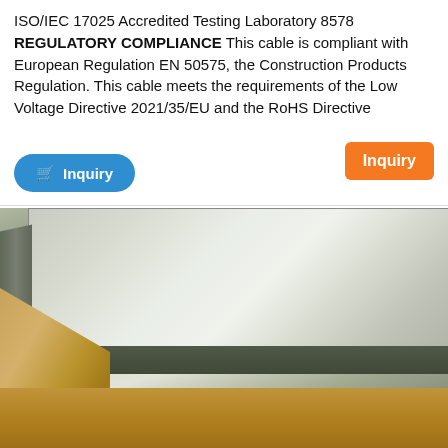ISO/IEC 17025 Accredited Testing Laboratory 8578 REGULATORY COMPLIANCE This cable is compliant with European Regulation EN 50575, the Construction Products Regulation. This cable meets the requirements of the Low Voltage Directive 2021/35/EU and the RoHS Directive
[Figure (other): Orange Inquiry button (call-to-action)]
[Figure (other): Blue Inquiry button with shopping cart icon]
[Figure (photo): Photo of a large flat metal sheet or plate stacked on wooden pallets/crates in a warehouse or shipping area]